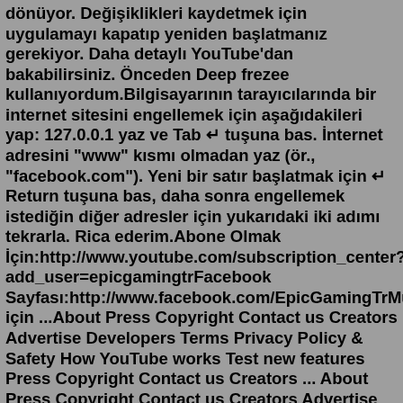dönüyor. Değişiklikleri kaydetmek için uygulamayı kapatıp yeniden başlatmanız gerekiyor. Daha detaylı YouTube'dan bakabilirsiniz. Önceden Deep frezee kullanıyordum.Bilgisayarının tarayıcılarında bir internet sitesini engellemek için aşağıdakileri yap: 127.0.0.1 yaz ve Tab ↵ tuşuna bas. İnternet adresini "www" kısmı olmadan yaz (ör., "facebook.com"). Yeni bir satır başlatmak için ↵ Return tuşuna bas, daha sonra engellemek istediğin diğer adresler için yukarıdaki iki adımı tekrarla. Rica ederim.Abone Olmak İçin:http://www.youtube.com/subscription_center?add_user=epicgamingtrFacebook Sayfası:http://www.facebook.com/EpicGamingTrMüzik için ...About Press Copyright Contact us Creators Advertise Developers Terms Privacy Policy & Safety How YouTube works Test new features Press Copyright Contact us Creators ... About Press Copyright Contact us Creators Advertise Developers Terms Privacy Policy & Safety How YouTube works Test new features Press Copyright Contact us